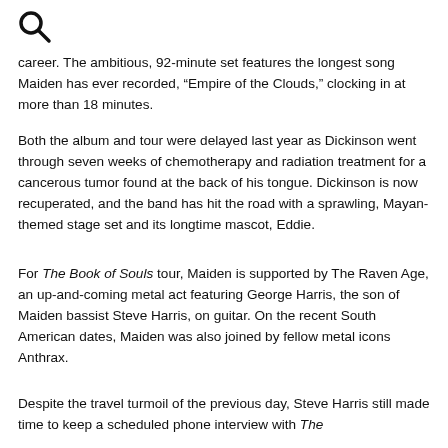[Figure (other): Search/magnifying glass icon]
career. The ambitious, 92-minute set features the longest song Maiden has ever recorded, “Empire of the Clouds,” clocking in at more than 18 minutes.
Both the album and tour were delayed last year as Dickinson went through seven weeks of chemotherapy and radiation treatment for a cancerous tumor found at the back of his tongue. Dickinson is now recuperated, and the band has hit the road with a sprawling, Mayan-themed stage set and its longtime mascot, Eddie.
For The Book of Souls tour, Maiden is supported by The Raven Age, an up-and-coming metal act featuring George Harris, the son of Maiden bassist Steve Harris, on guitar. On the recent South American dates, Maiden was also joined by fellow metal icons Anthrax.
Despite the travel turmoil of the previous day, Steve Harris still made time to keep a scheduled phone interview with The